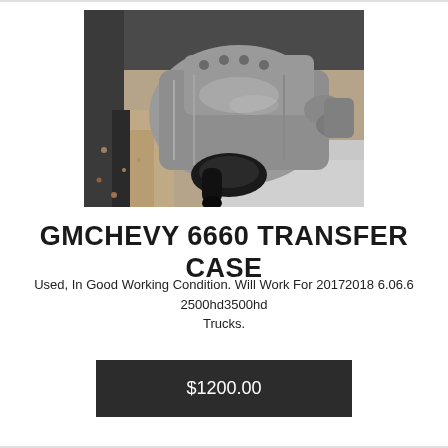[Figure (photo): A used transfer case (GMCHEVY 6660) sitting on a surface, photographed from above. The metal component is silver/grey with black accents, appears to be an automotive part.]
GMCHEVY 6660 TRANSFER CASE
Used, In Good Working Condition. Will Work For 20172018 6.06.6 2500hd3500hd Trucks.
$1200.00